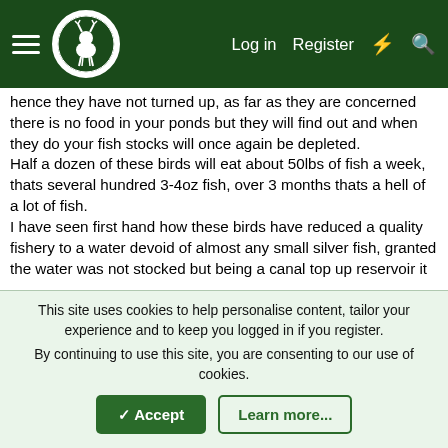Navigation bar with hamburger menu, logo, Log in, Register, and search icons
hence they have not turned up, as far as they are concerned there is no food in your ponds but they will find out and when they do your fish stocks will once again be depleted.
Half a dozen of these birds will eat about 50lbs of fish a week, thats several hundred 3-4oz fish, over 3 months thats a hell of a lot of fish.
I have seen first hand how these birds have reduced a quality fishery to a water devoid of almost any small silver fish, granted the water was not stocked but being a canal top up reservoir it used to hold tens of thousands of silver fish, the natural balance of fish stocks has been completely destroyed.
The problem with this particular water is that the reservoir is within a country park and the water birds are encouraged by the wardens including cormorants because "the public like to see them" the public dont see the damage the birds do because its
This site uses cookies to help personalise content, tailor your experience and to keep you logged in if you register.
By continuing to use this site, you are consenting to our use of cookies.
✓ Accept   Learn more...